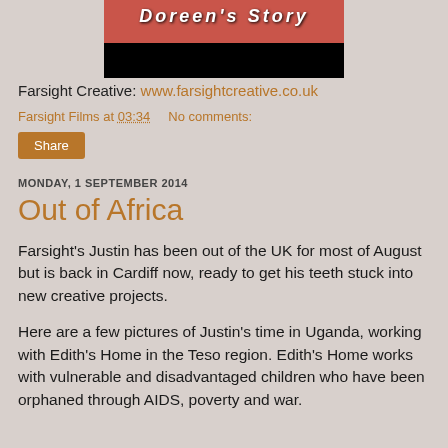[Figure (screenshot): Video thumbnail showing a person with text 'Doreen's Story' overlaid on a dark/red background]
Farsight Creative: www.farsightcreative.co.uk
Farsight Films at 03:34    No comments:
Share
MONDAY, 1 SEPTEMBER 2014
Out of Africa
Farsight's Justin has been out of the UK for most of August but is back in Cardiff now, ready to get his teeth stuck into new creative projects.
Here are a few pictures of Justin's time in Uganda, working with Edith's Home in the Teso region. Edith's Home works with vulnerable and disadvantaged children who have been orphaned through AIDS, poverty and war.